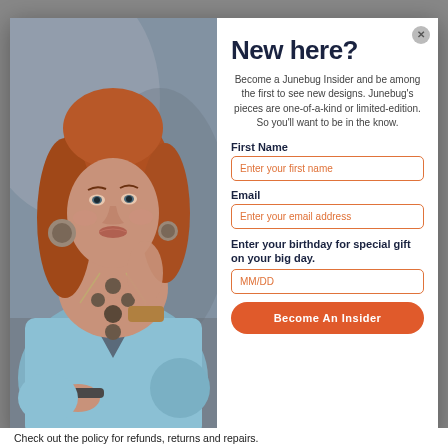[Figure (photo): Woman with red hair wearing blue wrap top, stone necklace, earrings and bracelet posing against a grey background]
New here?
Become a Junebug Insider and be among the first to see new designs. Junebug's pieces are one-of-a-kind or limited-edition. So you'll want to be in the know.
First Name
Enter your first name
Email
Enter your email address
Enter your birthday for special gift on your big day.
MM/DD
Become An Insider
Check out the policy for refunds, returns and repairs.